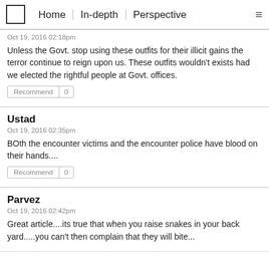Home | In-depth | Perspective
Oct 19, 2016 02:18pm
Unless the Govt. stop using these outfits for their illicit gains the terror continue to reign upon us. These outfits wouldn't exists had we elected the rightful people at Govt. offices.
Recommend 0
Ustad
Oct 19, 2016 02:35pm
BOth the encounter victims and the encounter police have blood on their hands....
Recommend 0
Parvez
Oct 19, 2016 02:42pm
Great article....its true that when you raise snakes in your back yard.....